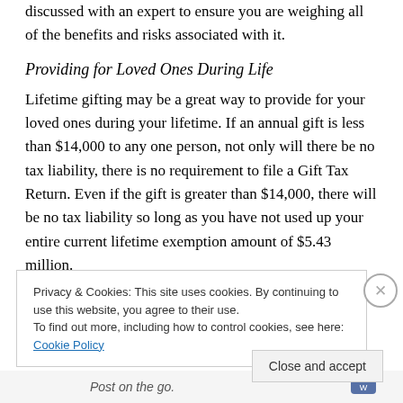discussed with an expert to ensure you are weighing all of the benefits and risks associated with it.
Providing for Loved Ones During Life
Lifetime gifting may be a great way to provide for your loved ones during your lifetime. If an annual gift is less than $14,000 to any one person, not only will there be no tax liability, there is no requirement to file a Gift Tax Return. Even if the gift is greater than $14,000, there will be no tax liability so long as you have not used up your entire current lifetime exemption amount of $5.43 million.
Privacy & Cookies: This site uses cookies. By continuing to use this website, you agree to their use.
To find out more, including how to control cookies, see here: Cookie Policy
Close and accept
Post on the go.